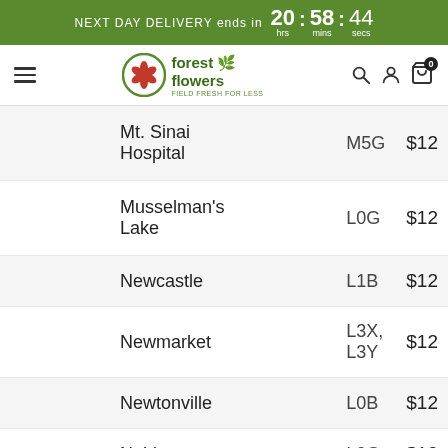NEXT DAY DELIVERY ends in 20 hrs : 58 mins : 44 secs
[Figure (logo): Forest of Flowers logo with navigation icons]
| Location | Postal Code | Price |
| --- | --- | --- |
| Mt. Sinai Hospital | M5G | $12 |
| Musselman's Lake | L0G | $12 |
| Newcastle | L1B | $12 |
| Newmarket | L3X, L3Y | $12 |
| Newtonville | L0B | $12 |
| Nobleton | L0G | $12 |
| (partial row) | M2L, |  |